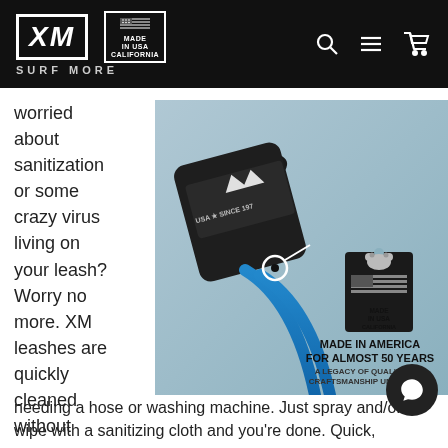XM SURF MORE — Made in USA — navigation icons
worried about sanitization or some crazy virus living on your leash? Worry no more. XM leashes are quickly cleaned without
[Figure (photo): Close-up photo of XM surfboard leash cuff with blue cord. The cuff has an XM logo patch reading 'USA * SINCE 197_'. Overlaid branding badge reads: MADE IN USA CALIFORNIA / MADE IN AMERICA FOR ALMOST 50 YEARS / A LEGACY OF QUALITY AND CRAFTSMANSHIP UNMATCHED]
needing a hose or washing machine. Just spray and/or wipe with a sanitizing cloth and you're done. Quick,